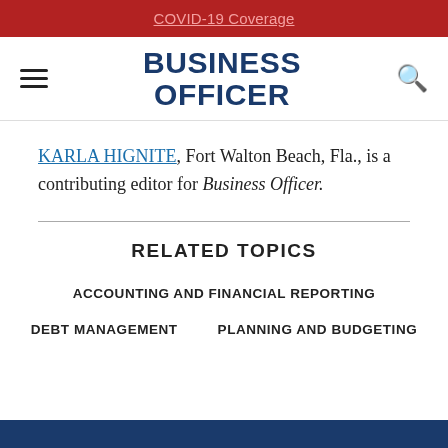COVID-19 Coverage
[Figure (logo): Business Officer magazine logo with hamburger menu and search icon]
KARLA HIGNITE, Fort Walton Beach, Fla., is a contributing editor for Business Officer.
RELATED TOPICS
ACCOUNTING AND FINANCIAL REPORTING
DEBT MANAGEMENT
PLANNING AND BUDGETING